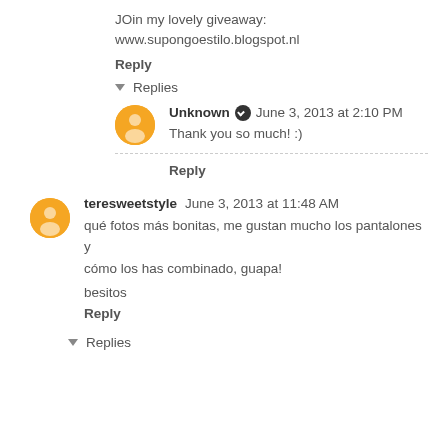JOin my lovely giveaway:
www.supongoestilo.blogspot.nl
Reply
Replies
Unknown   June 3, 2013 at 2:10 PM
Thank you so much! :)
Reply
teresweetstyle  June 3, 2013 at 11:48 AM
qué fotos más bonitas, me gustan mucho los pantalones y cómo los has combinado, guapa!
besitos
Reply
Replies